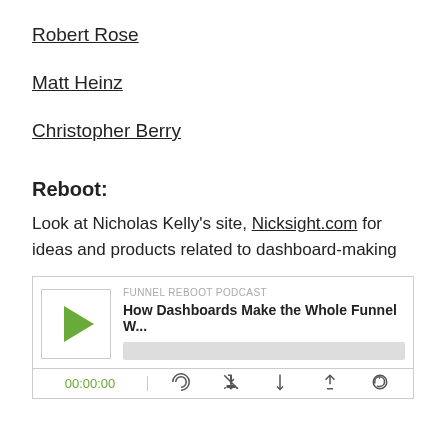Robert Rose
Matt Heinz
Christopher Berry
Reboot:
Look at Nicholas Kelly's site, Nicksight.com for ideas and products related to dashboard-making
[Figure (screenshot): Podcast player widget for 'FUNNEL REBOOT PODCAST' showing episode title 'How Dashboards Make the Whole Funnel W...' with a green play button, progress bar, time display '00:00:00', and control icons for subscribe, download, embed, and share.]